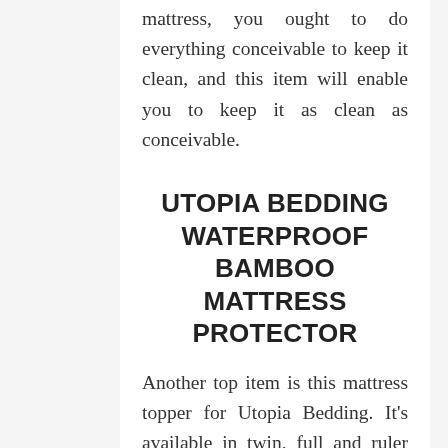mattress, you ought to do everything conceivable to keep it clean, and this item will enable you to keep it as clean as conceivable.
UTOPIA BEDDING WATERPROOF BAMBOO MATTRESS PROTECTOR
Another top item is this mattress topper for Utopia Bedding. It's available in twin, full and ruler sizes, so there is a size for most mattresses